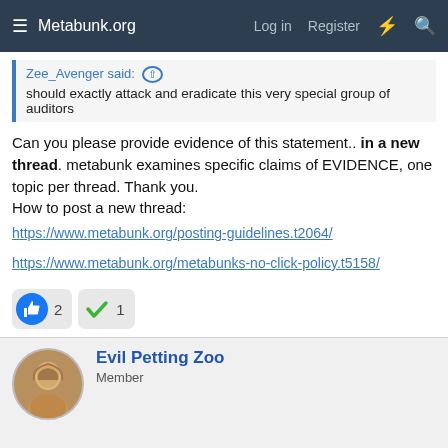Metabunk.org | Log in | Register
Zee_Avenger said: should exactly attack and eradicate this very special group of auditors
Can you please provide evidence of this statement.. in a new thread. metabunk examines specific claims of EVIDENCE, one topic per thread. Thank you.
How to post a new thread:
https://www.metabunk.org/posting-guidelines.t2064/

https://www.metabunk.org/metabunks-no-click-policy.t5158/
[Figure (infographic): Reaction buttons: thumbs up with count 2, green checkmark with count 1]
Evil Petting Zoo
Member
Jun 27, 2016
#35